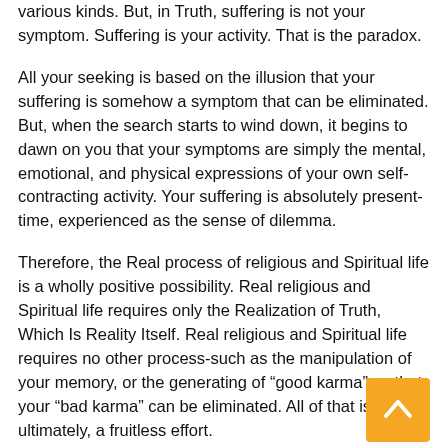various kinds. But, in Truth, suffering is not your symptom. Suffering is your activity. That is the paradox.
All your seeking is based on the illusion that your suffering is somehow a symptom that can be eliminated. But, when the search starts to wind down, it begins to dawn on you that your symptoms are simply the mental, emotional, and physical expressions of your own self-contracting activity. Your suffering is absolutely present-time, experienced as the sense of dilemma.
Therefore, the Real process of religious and Spiritual life is a wholly positive possibility. Real religious and Spiritual life requires only the Realization of Truth, Which Is Reality Itself. Real religious and Spiritual life requires no other process-such as the manipulation of your memory, or the generating of “good karma” so that your “bad karma” can be eliminated. All of that is, ultimately, a fruitless effort.
Behavioral improvement can never be done to the point of Perfect Freedom. The karmas (or tendencies) that